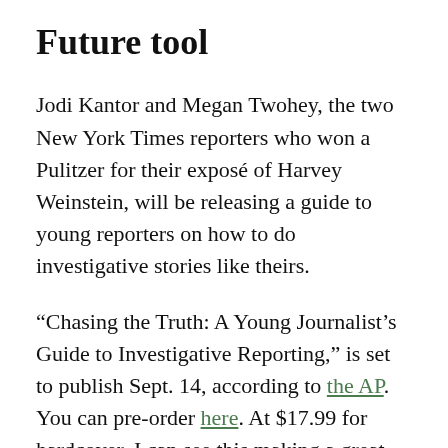Future tool
Jodi Kantor and Megan Twohey, the two New York Times reporters who won a Pulitzer for their exposé of Harvey Weinstein, will be releasing a guide to young reporters on how to do investigative stories like theirs.
“Chasing the Truth: A Young Journalist’s Guide to Investigative Reporting,” is set to publish Sept. 14, according to the AP. You can pre-order here. At $17.99 for hardcover, I can see this making a great